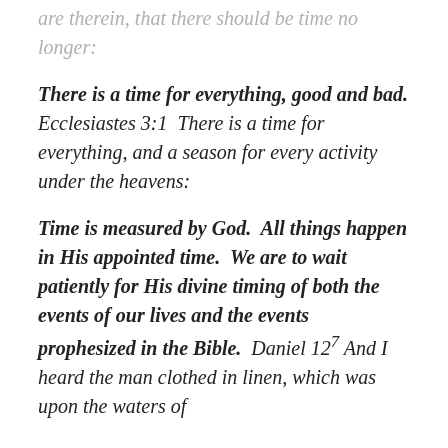are therein, that there should be time no longer:
There is a time for everything, good and bad. Ecclesiastes 3:1  There is a time for everything, and a season for every activity under the heavens:
Time is measured by God.  All things happen in His appointed time.  We are to wait patiently for His divine timing of both the events of our lives and the events prophesized in the Bible.  Daniel 12⁷ And I heard the man clothed in linen, which was upon the waters of